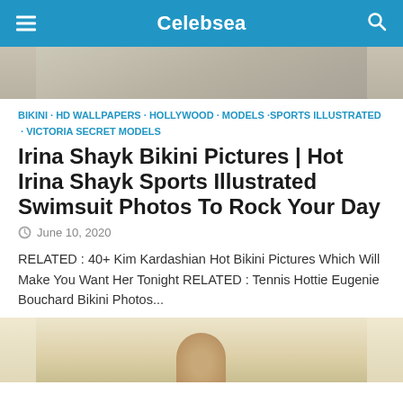Celebsea
[Figure (photo): Top portion of a beach/outdoor photo, cropped at top]
BIKINI · HD WALLPAPERS · HOLLYWOOD · MODELS · SPORTS ILLUSTRATED · VICTORIA SECRET MODELS
Irina Shayk Bikini Pictures | Hot Irina Shayk Sports Illustrated Swimsuit Photos To Rock Your Day
June 10, 2020
RELATED : 40+ Kim Kardashian Hot Bikini Pictures Which Will Make You Want Her Tonight RELATED : Tennis Hottie Eugenie Bouchard Bikini Photos...
[Figure (photo): Bottom portion of article showing a partial photo of a person]